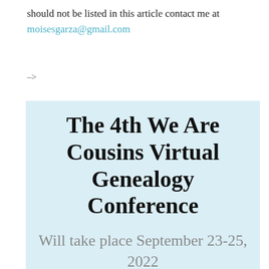should not be listed in this article contact me at moisesgarza@gmail.com
-->
The 4th We Are Cousins Virtual Genealogy Conference
Will take place September 23-25, 2022